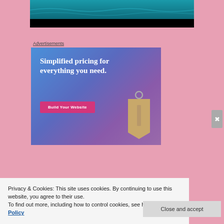[Figure (photo): Top portion of a web page showing a beach/ocean photo (teal water) with a dark band below it, on a pink background]
Advertisements
[Figure (infographic): Advertisement banner with blue-to-purple gradient background. Text: 'Simplified pricing for everything you need.' with a pink 'Build Your Website' button and a tan price tag graphic on the right.]
Privacy & Cookies: This site uses cookies. By continuing to use this website, you agree to their use.
To find out more, including how to control cookies, see here: Cookie Policy
Close and accept